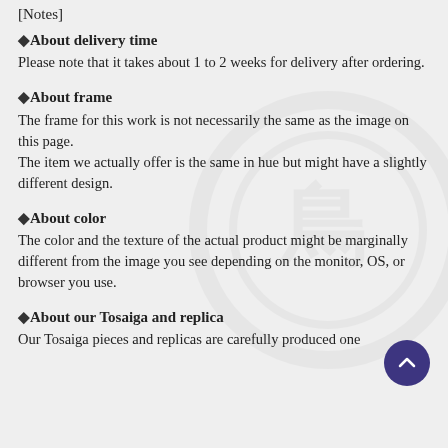[Notes]
◆About delivery time
Please note that it takes about 1 to 2 weeks for delivery after ordering.
◆About frame
The frame for this work is not necessarily the same as the image on this page.
The item we actually offer is the same in hue but might have a slightly different design.
◆About color
The color and the texture of the actual product might be marginally different from the image you see depending on the monitor, OS, or browser you use.
◆About our Tosaiga and replica
Our Tosaiga pieces and replicas are carefully produced one